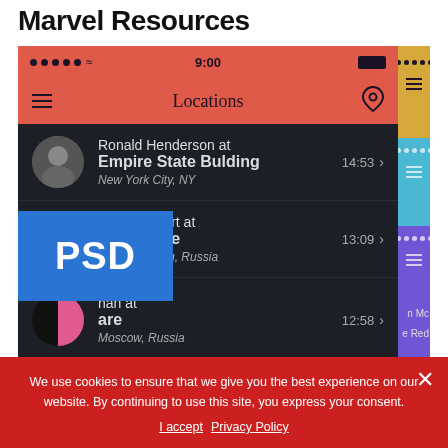Marvel Resources
[Figure (screenshot): Mobile app screenshot showing a 'Locations' screen with a dark theme. Status bar shows 9:00 and battery icon. Three location entries: Ronald Henderson at Empire State Bulding, New York City, NY (14:53); John Stewart at L'Ermitage, St. Petersburg, Russia (13:09); partial third entry with Moscow, Russia (12:58). A blue PSD badge overlays the lower-left. Right side shows colored strip panels (yellow, blue, purple). Overflow text partially visible: 'n Mc' and 'e Red'.]
We use cookies to ensure that we give you the best experience on our website. By continuing to use this site, you express your consent.
I accept  Privacy Policy